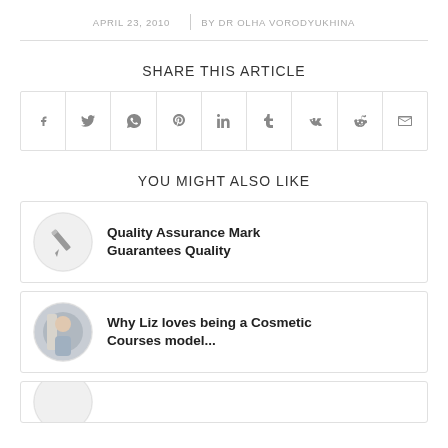APRIL 23, 2010 | BY DR OLHA VORODYUKHINA
SHARE THIS ARTICLE
[Figure (other): Social share buttons: Facebook, Twitter, WhatsApp, Pinterest, LinkedIn, Tumblr, VK, Reddit, Email]
YOU MIGHT ALSO LIKE
[Figure (other): Article card with pencil icon placeholder thumbnail: Quality Assurance Mark Guarantees Quality]
Quality Assurance Mark Guarantees Quality
[Figure (photo): Article card with circular photo of a person: Why Liz loves being a Cosmetic Courses model...]
Why Liz loves being a Cosmetic Courses model...